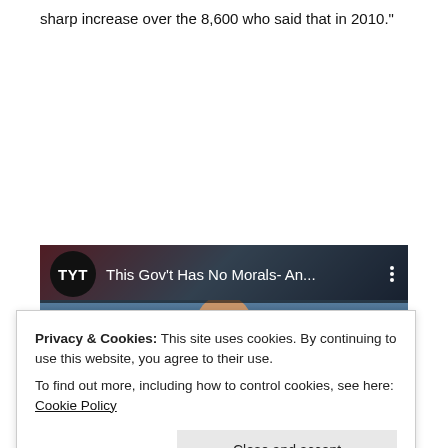sharp increase over the 8,600 who said that in 2010."
[Figure (screenshot): TYT YouTube video thumbnail with title 'This Gov't Has No Morals- An...' and three-dot menu icon, showing a man's face in the background]
Privacy & Cookies: This site uses cookies. By continuing to use this website, you agree to their use.
To find out more, including how to control cookies, see here: Cookie Policy
Close and accept